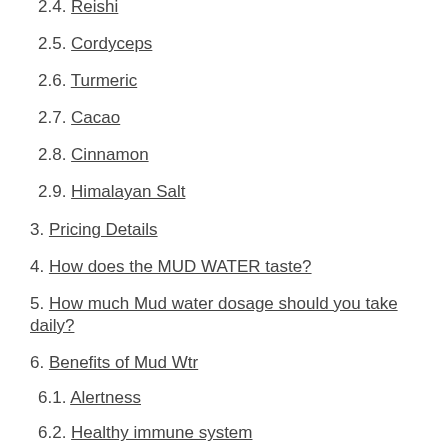2.4. Reishi
2.5. Cordyceps
2.6. Turmeric
2.7. Cacao
2.8. Cinnamon
2.9. Himalayan Salt
3. Pricing Details
4. How does the MUD WATER taste?
5. How much Mud water dosage should you take daily?
6. Benefits of Mud Wtr
6.1. Alertness
6.2. Healthy immune system
6.3. Energy booster